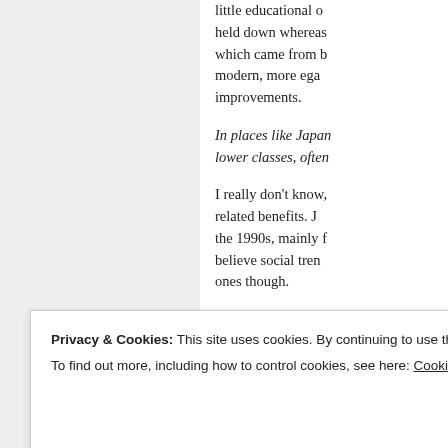little educational o... held down whereas... which came from b... modern, more ega... improvements.
In places like Japan... lower classes, often...
I really don't know,... related benefits. J... the 1990s, mainly f... believe social tren... ones though.
The Flynn effect, me... lec... , t... wh...
Privacy & Cookies: This site uses cookies. By continuing to use this website, you agree to their use.
To find out more, including how to control cookies, see here: Cookie Policy